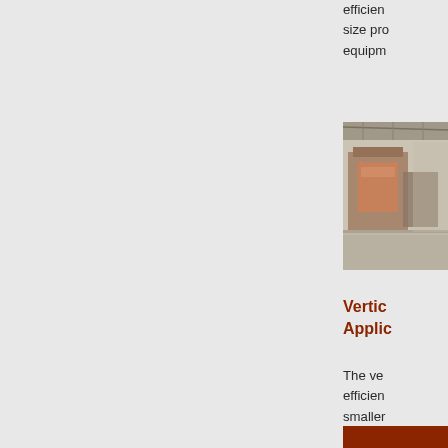efficient size pro equipm
[Figure (photo): Industrial warehouse or factory interior with large equipment and high ceiling]
Vertic Applic
The ve efficien smaller the ver adopte hydraul and the